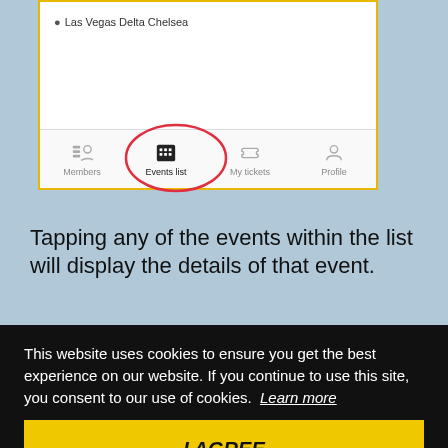[Figure (screenshot): Mobile app screenshot showing navigation bar with Members, Events list (circled in red), My tickets, and Profile tabs. Location shown as Las Vegas Delta Chelsea.]
Tapping any of the events within the list will display the details of that event.
This website uses cookies to ensure you get the best experience on our website. If you continue to use this site, you consent to our use of cookies. Learn more
I AGREE